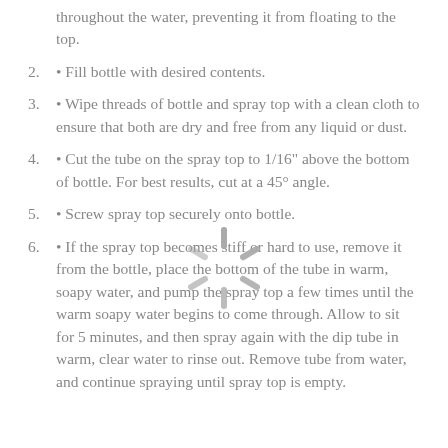throughout the water, preventing it from floating to the top.
• Fill bottle with desired contents.
• Wipe threads of bottle and spray top with a clean cloth to ensure that both are dry and free from any liquid or dust.
• Cut the tube on the spray top to 1/16" above the bottom of bottle. For best results, cut at a 45° angle.
• Screw spray top securely onto bottle.
• If the spray top becomes stiff or hard to use, remove it from the bottle, place the bottom of the tube in warm, soapy water, and pump the spray top a few times until the warm soapy water begins to come through. Allow to sit for 5 minutes, and then spray again with the dip tube in warm, clear water to rinse out. Remove tube from water, and continue spraying until spray top is empty.
[Figure (other): Loading spinner graphic centered on the page]